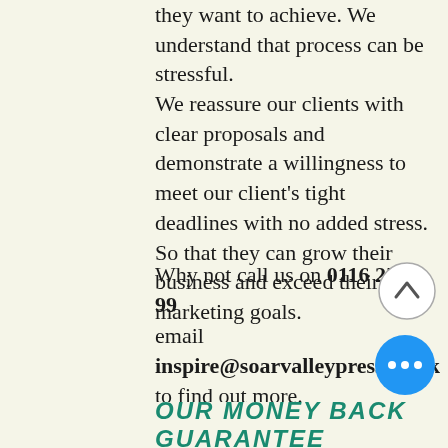they want to achieve. We understand that process can be stressful. We reassure our clients with clear proposals and demonstrate a willingness to meet our client's tight deadlines with no added stress. So that they can grow their business and exceed their marketing goals.
Why not call us on 0116 259 99 email inspire@soarvalleypress.co.uk to find out more. We're always ready to get the conversation started.
OUR MONEY BACK GUARANTEE